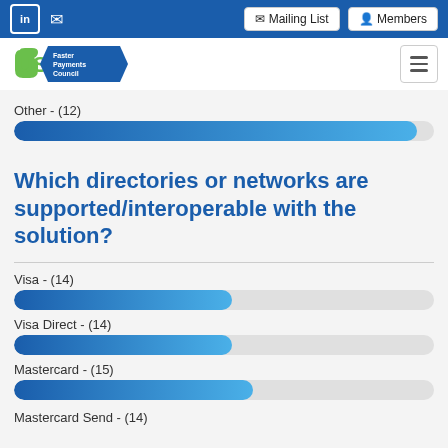US Faster Payments Council — Mailing List | Members
[Figure (bar-chart): Other - (12)]
Which directories or networks are supported/interoperable with the solution?
[Figure (bar-chart): Visa - (14) | Visa Direct - (14) | Mastercard - (15)]
Mastercard - (15)